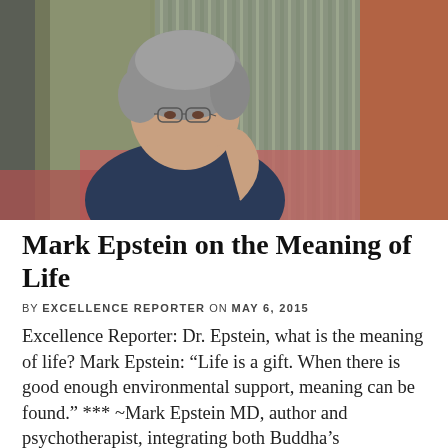[Figure (photo): A man with gray curly hair and glasses, wearing a dark navy blue t-shirt, sitting in a contemplative pose with his hand raised near his chin. He is seated against a reddish backdrop near a window with a textured background.]
Mark Epstein on the Meaning of Life
BY EXCELLENCE REPORTER ON MAY 6, 2015
Excellence Reporter: Dr. Epstein, what is the meaning of life? Mark Epstein: “Life is a gift. When there is good enough environmental support, meaning can be found.” *** ~Mark Epstein MD, author and psychotherapist, integrating both Buddha’s